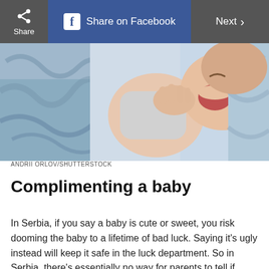Share  |  Share on Facebook  |  Next >
[Figure (photo): Close-up photo of a baby lying on a blue blanket, mouth open wide, with hand near face. Photo credit: Andrii Orlov/Shutterstock.]
ANDRII ORLOV/SHUTTERSTOCK
Complimenting a baby
In Serbia, if you say a baby is cute or sweet, you risk dooming the baby to a lifetime of bad luck. Saying it's ugly instead will keep it safe in the luck department. So in Serbia, there's essentially no way for parents to tell if someone actually thinks their baby is funny-looking, or if they're just trying to